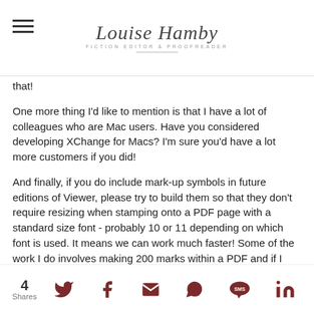Louise Hamby – Fiction Editor & Proofreader
that!
One more thing I'd like to mention is that I have a lot of colleagues who are Mac users. Have you considered developing XChange for Macs? I'm sure you'd have a lot more customers if you did!
And finally, if you do include mark-up symbols in future editions of Viewer, please try to build them so that they don't require resizing when stamping onto a PDF page with a standard size font - probably 10 or 11 depending on which font is used. It means we can work much faster! Some of the work I do involves making 200 marks within a PDF and if I had to resize each mark every time I stamped the page with it, my
4 Shares — social sharing icons: Twitter, Facebook, Email, WhatsApp, SMS, LinkedIn